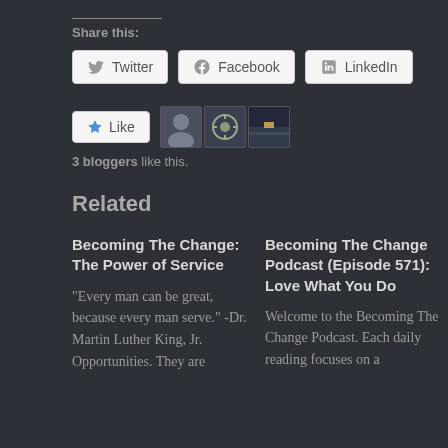Share this:
Twitter  Facebook  LinkedIn
[Figure (infographic): Like button with star icon and three blogger avatar thumbnails]
3 bloggers like this.
Related
Becoming The Change: The Power of Service
"Every man can be great, because every man serve." -Dr. Martin Luther King, Jr. Opportunities. They are
Becoming The Change Podcast (Episode 571): Love What You Do
Welcome to the Becoming The Change Podcast. Each daily reading focuses on a